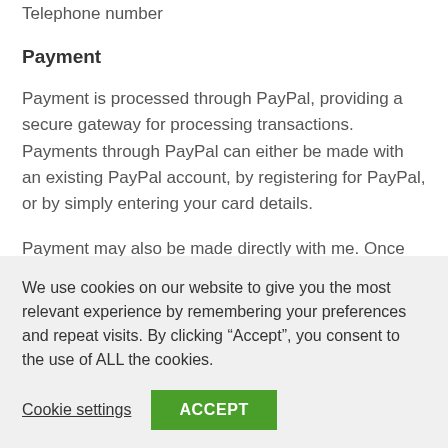Telephone number
Payment
Payment is processed through PayPal, providing a secure gateway for processing transactions. Payments through PayPal can either be made with an existing PayPal account, by registering for PayPal, or by simply entering your card details.
Payment may also be made directly with me. Once funds clear your order will be created and you will receive a sales
We use cookies on our website to give you the most relevant experience by remembering your preferences and repeat visits. By clicking “Accept”, you consent to the use of ALL the cookies.
Cookie settings
ACCEPT